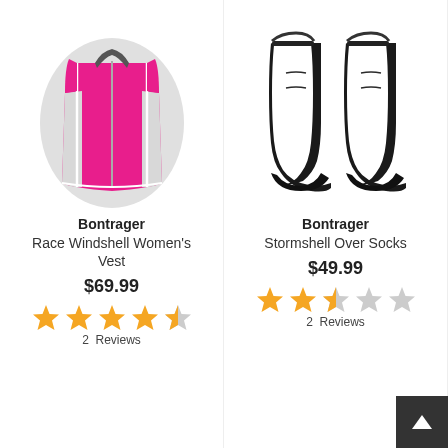[Figure (photo): Pink Bontrager Race Windshell Women's Vest cycling jacket, sleeveless with white trim]
Bontrager
Race Windshell Women's Vest
$69.99
[Figure (other): 4.5 out of 5 stars rating (orange stars)]
2 Reviews
[Figure (photo): Black Bontrager Stormshell Over Socks, shown as a pair]
Bontrager
Stormshell Over Socks
$49.99
[Figure (other): 2.5 out of 5 stars rating (orange stars)]
2 Reviews